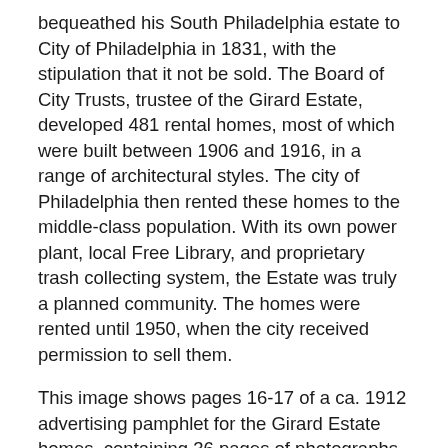bequeathed his South Philadelphia estate to City of Philadelphia in 1831, with the stipulation that it not be sold. The Board of City Trusts, trustee of the Girard Estate, developed 481 rental homes, most of which were built between 1906 and 1916, in a range of architectural styles. The city of Philadelphia then rented these homes to the middle-class population. With its own power plant, local Free Library, and proprietary trash collecting system, the Estate was truly a planned community. The homes were rented until 1950, when the city received permission to sell them.
This image shows pages 16-17 of a ca. 1912 advertising pamphlet for the Girard Estate homes, containing 36 pages of photographs, floorplans, and detailed information about the rental properties. The images show example interior and exterior views of homes on Colorado, Cleveland, 18th and 19th Streets.